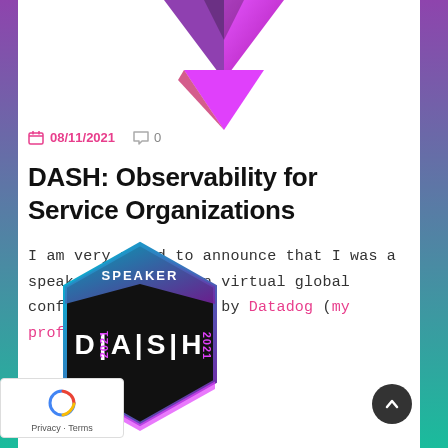[Figure (logo): Diamond-shaped logo with magenta and purple gradient at the top of the page]
08/11/2021   0
DASH: Observability for Service Organizations
I am very proud to announce that I was a speaker for DASH. An virtual global conference organized by Datadog (my profile).
[Figure (logo): DASH 2021 Speaker hexagonal badge with black background, magenta/cyan accents and text DASH 2021 SPEAKER]